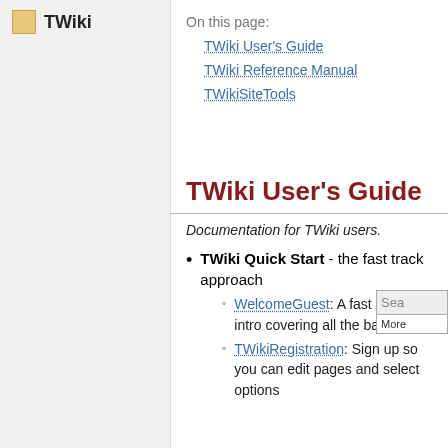TWiki
On this page:
TWiki User's Guide
TWiki Reference Manual
TWikiSiteTools
TWiki User's Guide
Documentation for TWiki users.
TWiki Quick Start - the fast track approach
WelcomeGuest: A fast track intro covering all the basics
TWikiRegistration: Sign up so you can edit pages and select options